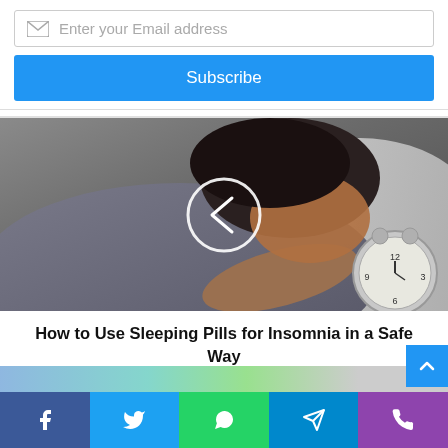Enter your Email address
Subscribe
[Figure (photo): Person sleeping in bed with an alarm clock nearby, with a circular back/previous navigation button overlay]
How to Use Sleeping Pills for Insomnia in a Safe Way
[Figure (other): Social share bar with Facebook, Twitter, WhatsApp, Telegram, and Phone icons]